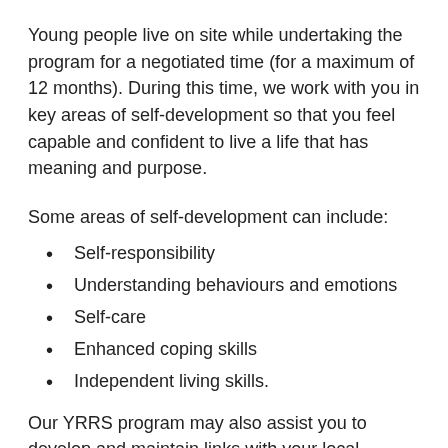Young people live on site while undertaking the program for a negotiated time (for a maximum of 12 months). During this time, we work with you in key areas of self-development so that you feel capable and confident to live a life that has meaning and purpose.
Some areas of self-development can include:
Self-responsibility
Understanding behaviours and emotions
Self-care
Enhanced coping skills
Independent living skills.
Our YRRS program may also assist you to develop and maintain links with your local community, family and social networks, and support you to pursue educational and vocational opportunities.